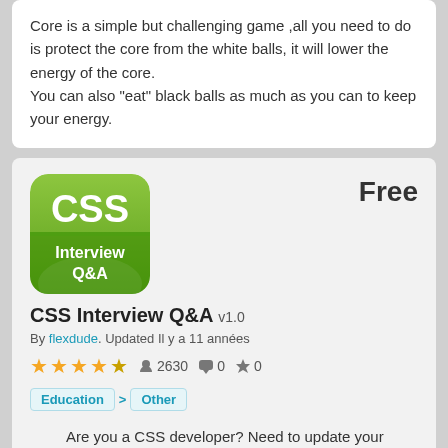Core is a simple but challenging game ,all you need to do is protect the core from the white balls, it will lower the energy of the core.
You can also "eat" black balls as much as you can to keep your energy.
[Figure (logo): CSS Interview Q&A app icon — green background with white CSS text on top and Interview Q&A in white text below]
CSS Interview Q&A v1.0
By flexdude. Updated Il y a 11 années
2630  0  0
Education > Other
Are you a CSS developer? Need to update your software development knowledge or need to prepare for a job interview? Check out this
collection of CSS Interview Q&A